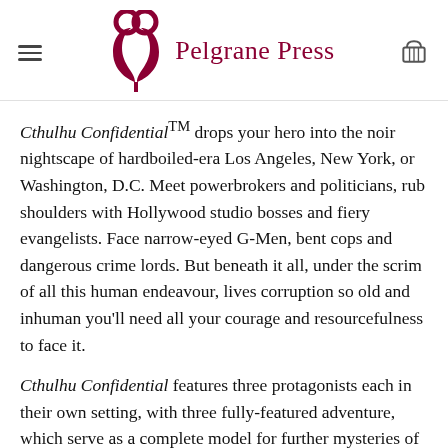Pelgrane Press
Cthulhu Confidential™ drops your hero into the noir nightscape of hardboiled-era Los Angeles, New York, or Washington, D.C. Meet powerbrokers and politicians, rub shoulders with Hollywood studio bosses and fiery evangelists. Face narrow-eyed G-Men, bent cops and dangerous crime lords. But beneath it all, under the scrim of all this human endeavour, lives corruption so old and inhuman you'll need all your courage and resourcefulness to face it.
Cthulhu Confidential features three protagonists each in their own setting, with three fully-featured adventure, which serve as a complete model for further mysteries of your creation.
[Figure (photo): Black and white photo strip, dark image with a bright circular light element on the left side]